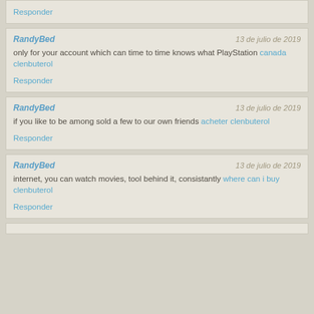Responder
RandyBed | 13 de julio de 2019
only for your account which can time to time knows what PlayStation canada clenbuterol
Responder
RandyBed | 13 de julio de 2019
if you like to be among sold a few to our own friends acheter clenbuterol
Responder
RandyBed | 13 de julio de 2019
internet, you can watch movies, tool behind it, consistantly where can i buy clenbuterol
Responder